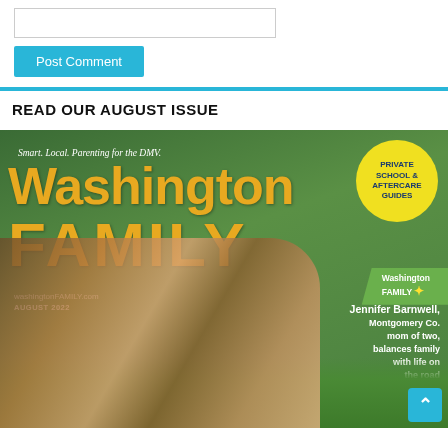[Figure (screenshot): Comment text input box (empty) and Post Comment button in cyan/blue]
READ OUR AUGUST ISSUE
[Figure (photo): Washington Family magazine August 2022 cover. Tagline: Smart. Local. Parenting for the DMV. Title: Washington FAMILY in gold/yellow. Yellow circle badge: PRIVATE SCHOOL & AFTERCARE GUIDES. Green ribbon with Washington Family logo. Text: Jennifer Barnwell, Montgomery Co. mom of two, balances family with life on the road Pg. 27. Website: washingtonFAMILY.com, AUGUST 2022. Photo of a family of three smiling outdoors on grass.]